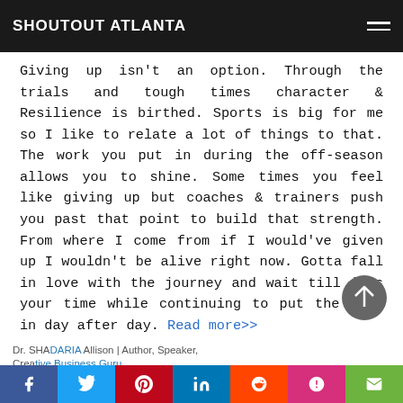SHOUTOUT ATLANTA
Giving up isn't an option. Through the trials and tough times character & Resilience is birthed. Sports is big for me so I like to relate a lot of things to that. The work you put in during the off-season allows you to shine. Some times you feel like giving up but coaches & trainers push you past that point to build that strength. From where I come from if I would've given up I wouldn't be alive right now. Gotta fall in love with the journey and wait till it's your time while continuing to put the work in day after day. Read more>>
[Figure (other): Scroll to top circular button with upward arrow]
Dr. SHADARIA Allison | Author, Speaker, Creative Business Guru — social share bar: Facebook, Twitter, Pinterest, LinkedIn, Reddit, Mix, Email